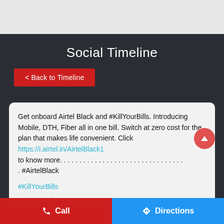Social Timeline
< Back to Timeline
Get onboard Airtel Black and #KillYourBills. Introducing Mobile, DTH, Fiber all in one bill. Switch at zero cost for the plan that makes life convenient. Click https://i.airtel.in/AirtelBlack1 to know more. . . . . . . . . . . . . . . . . . . . . . . . . . . . . . . . . #AirtelBlack
#KillYourBills
#AirtelBlack
Call   Directions